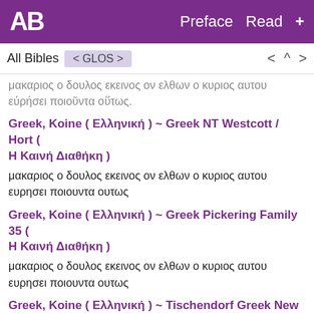AB  Preface  Read  +
All Bibles  < GLOS >  <  ^  >
μακαριος ο δουλος εκεινος ον ελθων ο κυριος αυτου εύρήσει ποιοῦντα οὕτως.
Greek, Koine ( Ελληνική ) ~ Greek NT Westcott / Hort ( Η Καινή Διαθήκη )
μακαριος ο δουλος εκεινος ον ελθων ο κυριος αυτου ευρησει ποιουντα ουτως
Greek, Koine ( Ελληνική ) ~ Greek Pickering Family 35 ( Η Καινή Διαθήκη )
μακαριος ο δουλος εκεινος ον ελθων ο κυριος αυτου ευρησει ποιουντα ουτως
Greek, Koine ( Ελληνική ) ~ Tischendorf Greek New Testament ( Η Καινή Διαθήκη )
μακαριος ὁ δοῦλος ἐκεῖνος, ὃν ἐλθὼν ὁ κύριος αὐτοῦ εὑρήσει ποιοῦντα οὕτως